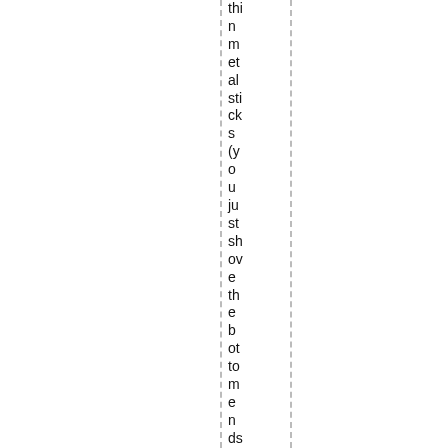thi n m et al sti ck s (y o u ju st sh ov e th e b ot to m e n ds int o th e fle